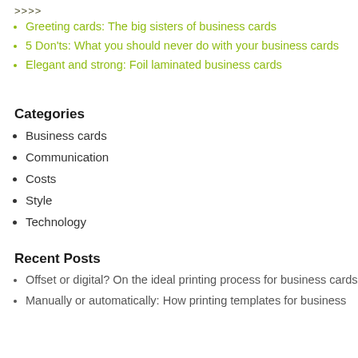[Figure (other): Right-pointing double chevron arrows (>>>>) in dark olive/brown color]
Greeting cards: The big sisters of business cards
5 Don'ts: What you should never do with your business cards
Elegant and strong: Foil laminated business cards
Categories
Business cards
Communication
Costs
Style
Technology
Recent Posts
Offset or digital? On the ideal printing process for business cards
Manually or automatically: How printing templates for business